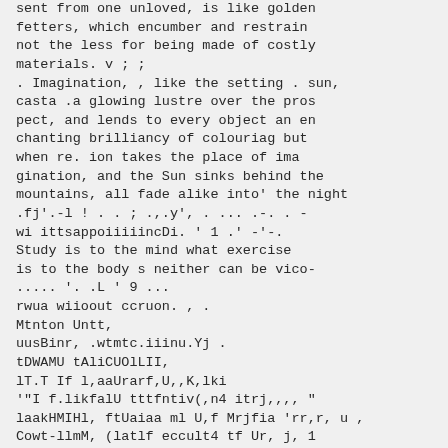sent from one unloved, is like golden fetters, which encumber and restrain not the less for being made of costly materials. v ; ;
. Imagination, , like the setting . sun, casta .a glowing lustre over the pros pect, and lends to every object an en chanting brilliancy of colouriag but when re. ion takes the place of ima gination, and the Sun sinks behind the mountains, all fade alike into' the night .fj'.-l ! . . ; .,.y', . ... .-. . - wi ittsappoiiiiincDi. ' 1 .' -'-.
Study is to the mind what exercise is to the body s neither can be vico- ..... '. .L ' 9 ...
rwua wiioout ccruon. , .
Mtnton Untt,
uusBinr, .wtmtc.iiinu.Yj .
tDWAMU tAliCUOlLII,
lT.T If l,aaUrarf,U,,K,lki
'"I f.likfalU tttfntiv(,n4 itrj,,,, "
laakHMIHl, ftUaiaa ml U,f Mrjfia 'rr,r, u ,
Cowt-llmM, (latlf eccult4 tf Ur, j, 1
Huta.)  Ik eonTtdenra c lW tium j'